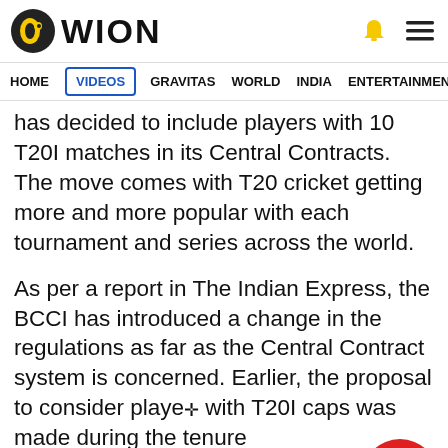WION
HOME  VIDEOS  GRAVITAS  WORLD  INDIA  ENTERTAINMENT  SPORTS
has decided to include players with 10 T20I matches in its Central Contracts. The move comes with T20 cricket getting more and more popular with each tournament and series across the world.
As per a report in The Indian Express, the BCCI has introduced a change in the regulations as far as the Central Contract system is concerned. Earlier, the proposal to consider players with T20I caps was made during the tenure of the Committee of Administrator's tenure before it was turned down.